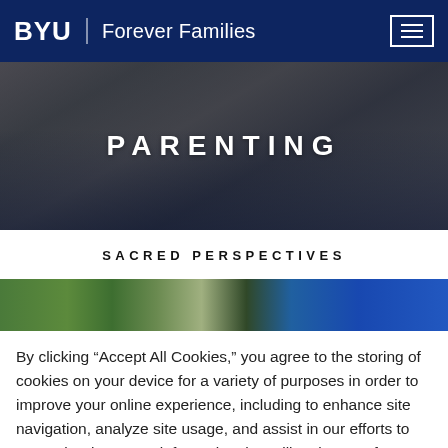BYU | Forever Families
PARENTING
SACRED PERSPECTIVES
[Figure (photo): Partial view of a photo strip showing a family or child-related scene with green foliage and blue tones]
By clicking “Accept All Cookies,” you agree to the storing of cookies on your device for a variety of purposes in order to improve your online experience, including to enhance site navigation, analyze site usage, and assist in our efforts to remember important information that will make your future use of our sites more convenient.